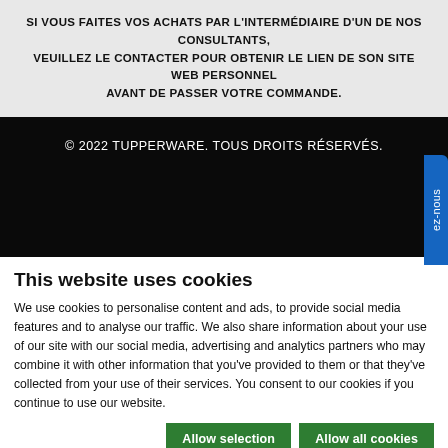SI VOUS FAITES VOS ACHATS PAR L'INTERMÉDIAIRE D'UN DE NOS CONSULTANTS, VEUILLEZ LE CONTACTER POUR OBTENIR LE LIEN DE SON SITE WEB PERSONNEL AVANT DE PASSER VOTRE COMMANDE.
© 2022 TUPPERWARE. TOUS DROITS RÉSERVÉS.
This website uses cookies
We use cookies to personalise content and ads, to provide social media features and to analyse our traffic. We also share information about your use of our site with our social media, advertising and analytics partners who may combine it with other information that you've provided to them or that they've collected from your use of their services. You consent to our cookies if you continue to use our website.
Allow selection
Allow all cookies
Necessary  Preferences  Statistics  Marketing  Show details